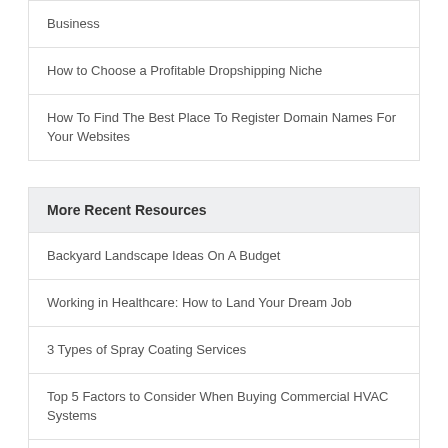Business
How to Choose a Profitable Dropshipping Niche
How To Find The Best Place To Register Domain Names For Your Websites
More Recent Resources
Backyard Landscape Ideas On A Budget
Working in Healthcare: How to Land Your Dream Job
3 Types of Spray Coating Services
Top 5 Factors to Consider When Buying Commercial HVAC Systems
The Best Packaging Companies for Product Branding